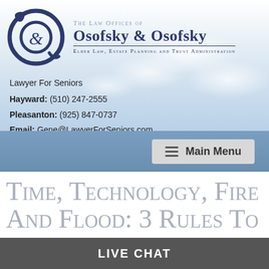[Figure (logo): The Law Offices of Osofsky & Osofsky logo with intertwined O letters and ampersand in navy blue, plus firm name and tagline]
Lawyer For Seniors
Hayward: (510) 247-2555
Pleasanton: (925) 847-0737
Email: Gene@LawyerForSeniors.com
Main Menu
Time, Technology, Fire And Flood: 3 Rules To
LIVE CHAT